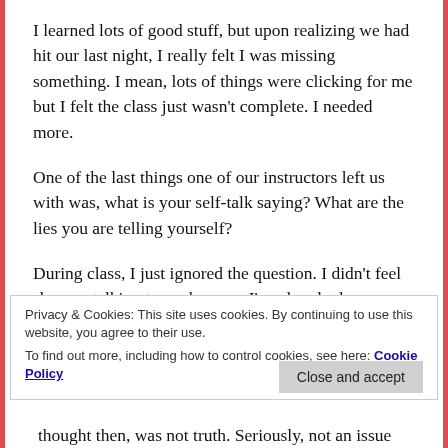I learned lots of good stuff, but upon realizing we had hit our last night, I really felt I was missing something. I mean, lots of things were clicking for me but I felt the class just wasn't complete. I needed more.
One of the last things one of our instructors left us with was, what is your self-talk saying? What are the lies you are telling yourself?
During class, I just ignored the question. I didn't feel she was talking to me because I've already done
Privacy & Cookies: This site uses cookies. By continuing to use this website, you agree to their use.
To find out more, including how to control cookies, see here: Cookie Policy
thought then, was not truth. Seriously, not an issue